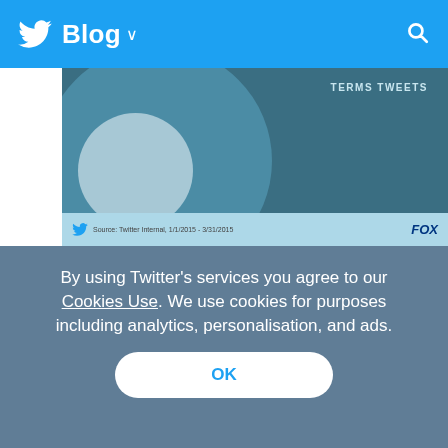Twitter Blog
[Figure (infographic): Partial Twitter/FOX infographic showing a circular donut-style chart on a dark teal background. Bottom bar shows Twitter bird logo, source text 'Source: Twitter Internal, 1/1/2015 - 3/31/2015', and FOX logo.]
This study indicates that networks and marketers have a head start when they don't have to pay for the first impression, and the power of a message increases with exposure. This is especially effective when the original view comes from organic and authentic conversation – as opposed
By using Twitter's services you agree to our Cookies Use. We use cookies for purposes including analytics, personalisation, and ads.
OK